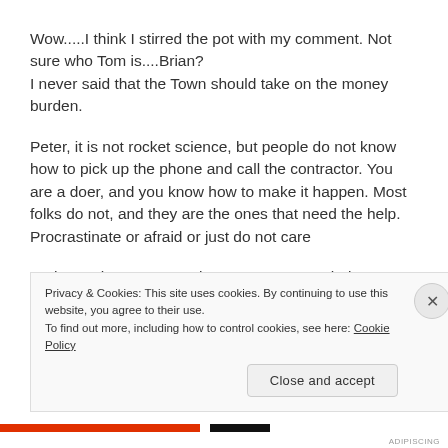Wow.....I think I stirred the pot with my comment. Not sure who Tom is....Brian?
I never said that the Town should take on the money burden.
Peter, it is not rocket science, but people do not know how to pick up the phone and call the contractor. You are a doer, and you know how to make it happen. Most folks do not, and they are the ones that need the help. Procrastinate or afraid or just do not care
Perhaps, the same people cannot manage their money
Privacy & Cookies: This site uses cookies. By continuing to use this website, you agree to their use.
To find out more, including how to control cookies, see here: Cookie Policy
Close and accept